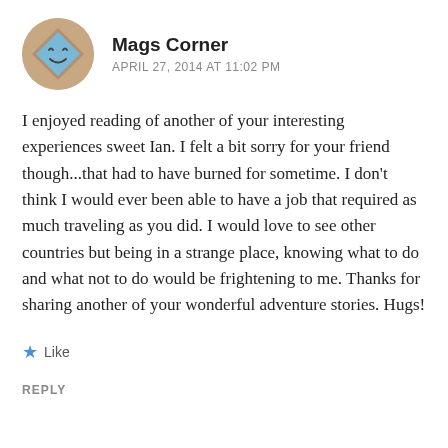[Figure (illustration): Round avatar icon with a tan/brown background showing a blue diamond shape with a simple smiley face]
Mags Corner
APRIL 27, 2014 AT 11:02 PM
I enjoyed reading of another of your interesting experiences sweet Ian. I felt a bit sorry for your friend though...that had to have burned for sometime. I don’t think I would ever been able to have a job that required as much traveling as you did. I would love to see other countries but being in a strange place, knowing what to do and what not to do would be frightening to me. Thanks for sharing another of your wonderful adventure stories. Hugs!
★ Like
REPLY